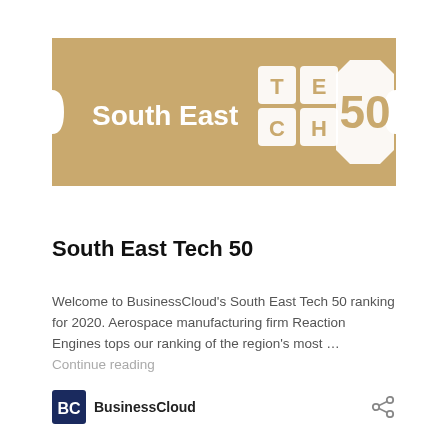[Figure (logo): South East Tech 50 banner logo — gold/tan rectangular ticket shape with white text 'South East' on the left and a stylized 'TECH 50' graphic on the right in white on the gold background.]
South East Tech 50
Welcome to BusinessCloud's South East Tech 50 ranking for 2020. Aerospace manufacturing firm Reaction Engines tops our ranking of the region's most … Continue reading
[Figure (logo): BusinessCloud 'BC' logo in dark blue/navy square, followed by 'BusinessCloud' text in bold black.]